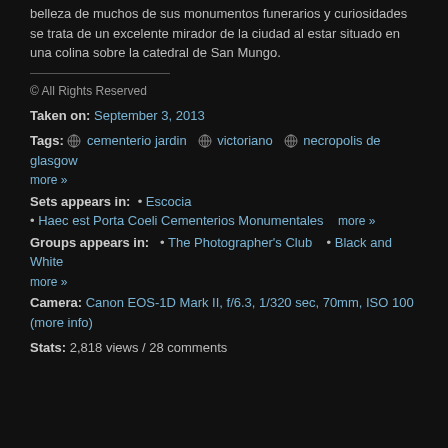belleza de muchos de sus monumentos funerarios y curiosidades se trata de un excelente mirador de la ciudad al estar situado en una colina sobre la catedral de San Mungo.
© All Rights Reserved
Taken on: September 3, 2013
Tags: [globe] cementerio jardin  [globe] victoriano  [globe] necropolis de glasgow more »
Sets appears in: • Escocia • Haec est Porta Coeli Cementerios Monumentales   more »
Groups appears in: • The Photographer's Club  • Black and White more »
Camera: Canon EOS-1D Mark II, f/6.3, 1/320 sec, 70mm, ISO 100 (more info)
Stats: 2,818 views / 28 comments